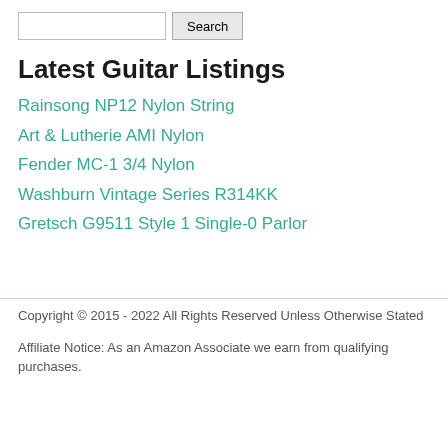Search
Latest Guitar Listings
Rainsong NP12 Nylon String
Art & Lutherie AMI Nylon
Fender MC-1 3/4 Nylon
Washburn Vintage Series R314KK
Gretsch G9511 Style 1 Single-0 Parlor
Copyright © 2015 - 2022 All Rights Reserved Unless Otherwise Stated
Affiliate Notice: As an Amazon Associate we earn from qualifying purchases.